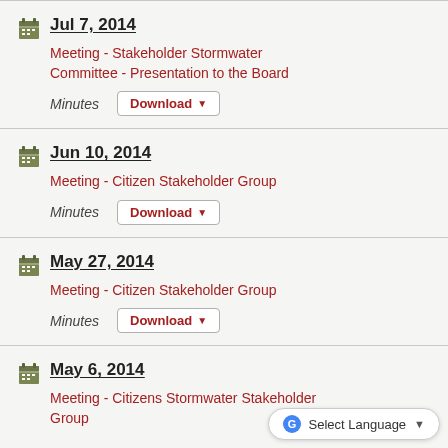Jul 7, 2014 - Meeting - Stakeholder Stormwater Committee - Presentation to the Board | Minutes [Download]
Jun 10, 2014 - Meeting - Citizen Stakeholder Group | Minutes [Download]
May 27, 2014 - Meeting - Citizen Stakeholder Group | Minutes [Download]
May 6, 2014 - Meeting - Citizens Stormwater Stakeholder Group